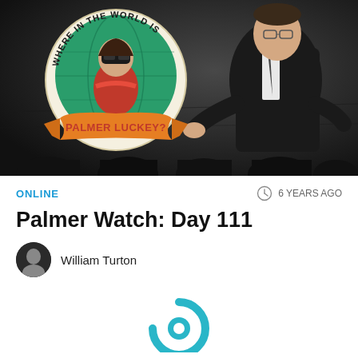[Figure (photo): Photo of a man in a dark suit on stage at a conference/presentation, with an overlay badge graphic reading 'WHERE IN THE WORLD IS PALMER LUCKEY?' in a circular badge with orange ribbon banner. Audience silhouettes visible at bottom.]
ONLINE
6 YEARS AGO
Palmer Watch: Day 111
William Turton